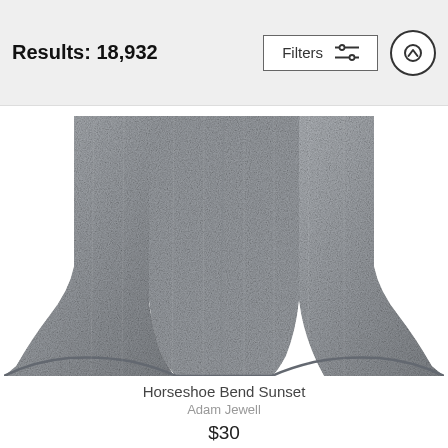Results: 18,932 | Filters | [scroll-up button]
[Figure (photo): Bottom portion of a gray heather flowy tank top / t-shirt on white background]
Horseshoe Bend Sunset
Adam Jewell
$30
[Figure (photo): Red racerback tank top with printed design visible at the bottom, shown from the back, partially cropped]